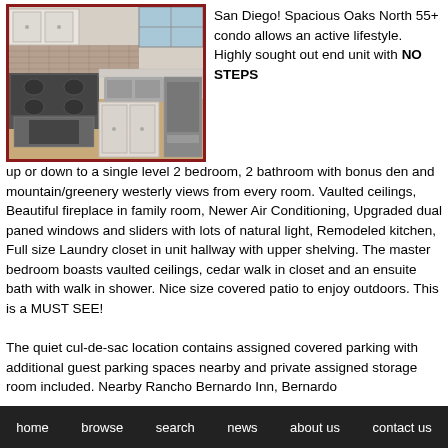[Figure (photo): Kitchen interior showing white cabinets, stainless steel appliances including stove and dishwasher, tile backsplash, and countertops]
San Diego! Spacious Oaks North 55+ condo allows an active lifestyle. Highly sought out end unit with NO STEPS up or down to a single level 2 bedroom, 2 bathroom with bonus den and mountain/greenery westerly views from every room. Vaulted ceilings, Beautiful fireplace in family room, Newer Air Conditioning, Upgraded dual paned windows and sliders with lots of natural light, Remodeled kitchen, Full size Laundry closet in unit hallway with upper shelving. The master bedroom boasts vaulted ceilings, cedar walk in closet and an ensuite bath with walk in shower. Nice size covered patio to enjoy outdoors. This is a MUST SEE!
The quiet cul-de-sac location contains assigned covered parking with additional guest parking spaces nearby and private assigned storage room included. Nearby Rancho Bernardo Inn, Bernardo
home   browse   search   news   about us   contact us